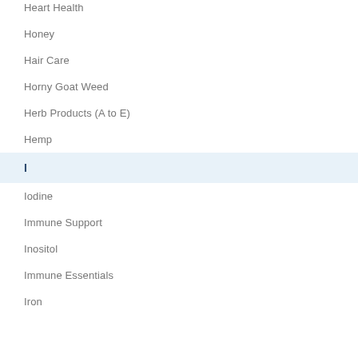Heart Health
Honey
Hair Care
Horny Goat Weed
Herb Products (A to E)
Hemp
I
Iodine
Immune Support
Inositol
Immune Essentials
Iron